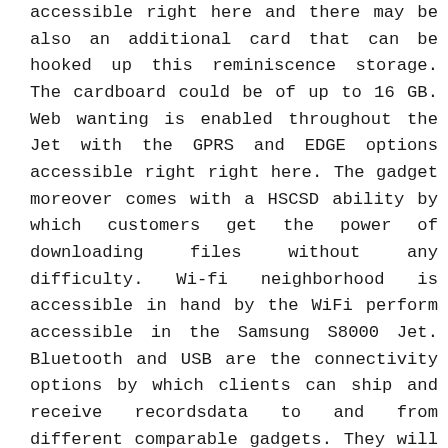accessible right here and there may be also an additional card that can be hooked up this reminiscence storage. The cardboard could be of up to 16 GB. Web wanting is enabled throughout the Jet with the GPRS and EDGE options accessible right right here. The gadget moreover comes with a HSCSD ability by which customers get the power of downloading files without any difficulty. Wi-fi neighborhood is accessible in hand by the WiFi perform accessible in the Samsung S8000 Jet. Bluetooth and USB are the connectivity options by which clients can ship and receive recordsdata to and from different comparable gadgets. They will moreover show you easy methods to change recordsdata to the laptops or desktops. That is the place the pros and cons of defending a clever TV linked